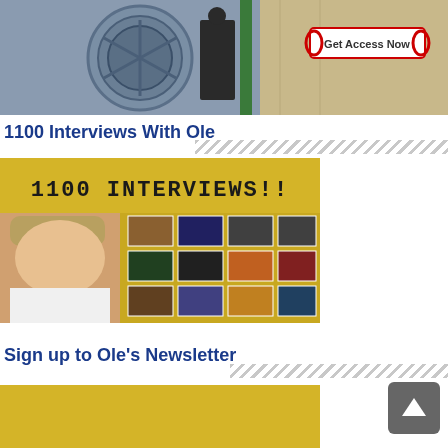[Figure (screenshot): Bank vault door with a man standing in front and a 'Get Access Now' button overlaid on the image]
1100 Interviews With Ole
[Figure (screenshot): Gold banner reading '1100 INTERVIEWS!!' with a man's face on the left and a grid of video thumbnails on the right]
Sign up to Ole's Newsletter
[Figure (screenshot): Bottom portion of a gold-colored newsletter signup banner, partially visible]